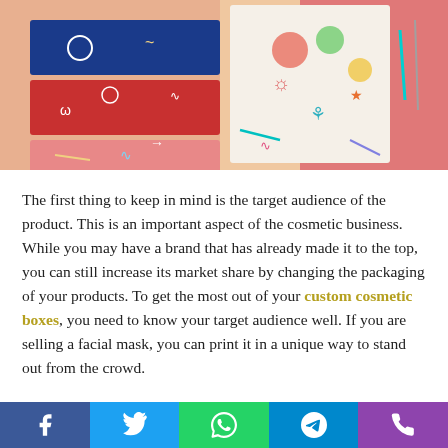[Figure (photo): Colorful decorative product boxes with illustrated patterns, stacked and arranged together on a colorful background. Boxes feature dark blue, red/coral, and white colorways with playful doodle and illustration designs.]
The first thing to keep in mind is the target audience of the product. This is an important aspect of the cosmetic business. While you may have a brand that has already made it to the top, you can still increase its market share by changing the packaging of your products. To get the most out of your custom cosmetic boxes, you need to know your target audience well. If you are selling a facial mask, you can print it in a unique way to stand out from the crowd.
[Figure (infographic): Social sharing bar with Facebook, Twitter, WhatsApp, Telegram, and Phone icons in colored buttons (blue, light blue, green, cyan, purple).]